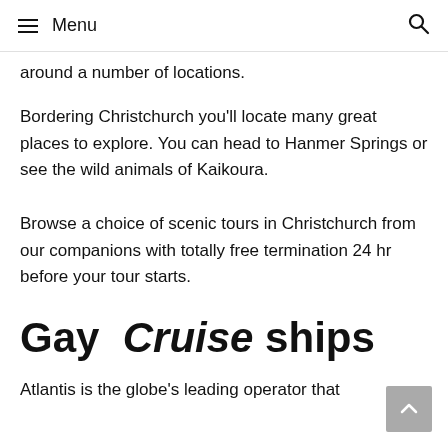Menu
around a number of locations.
Bordering Christchurch you'll locate many great places to explore. You can head to Hanmer Springs or see the wild animals of Kaikoura.
Browse a choice of scenic tours in Christchurch from our companions with totally free termination 24 hr before your tour starts.
Gay Cruise ships
Atlantis is the globe's leading operator that